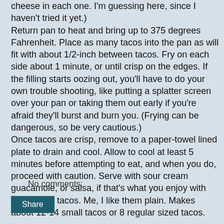cheese in each one. I'm guessing here, since I haven't tried it yet.) Return pan to heat and bring up to 375 degrees Fahrenheit. Place as many tacos into the pan as will fit with about 1/2-inch between tacos. Fry on each side about 1 minute, or until crisp on the edges. If the filling starts oozing out, you'll have to do your own trouble shooting, like putting a splatter screen over your pan or taking them out early if you're afraid they'll burst and burn you. (Frying can be dangerous, so be very cautious.) Once tacos are crisp, remove to a paper-towel lined plate to drain and cool. Allow to cool at least 5 minutes before attempting to eat, and when you do, proceed with caution. Serve with sour cream guacamole, or salsa, if that's what you enjoy with chili and/or tacos. Me, I like them plain. Makes about 12-14 small tacos or 8 regular sized tacos.
No comments:
Share